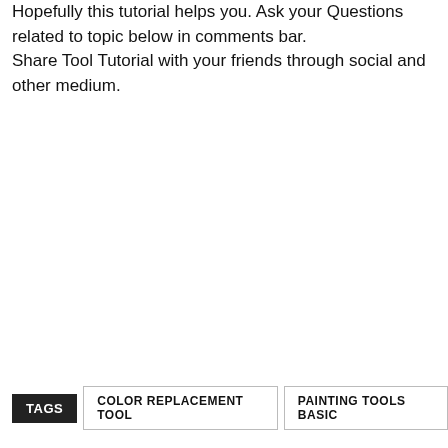Hopefully this tutorial helps you. Ask your Questions related to topic below in comments bar.
Share Tool Tutorial with your friends through social and other medium.
TAGS  COLOR REPLACEMENT TOOL  PAINTING TOOLS BASIC